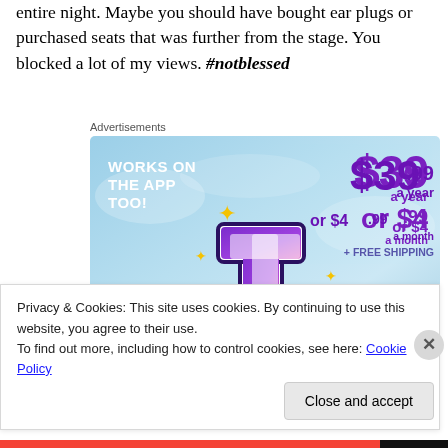entire night. Maybe you should have bought ear plugs or purchased seats that was further from the stage. You blocked a lot of my views. #notblessed
Advertisements
[Figure (infographic): Tumblr advertisement showing 'Works on the app too!' text, a stylized letter T logo, and pricing: $39.99 a year or $4.99 a month + free shipping]
Privacy & Cookies: This site uses cookies. By continuing to use this website, you agree to their use. To find out more, including how to control cookies, see here: Cookie Policy
Close and accept